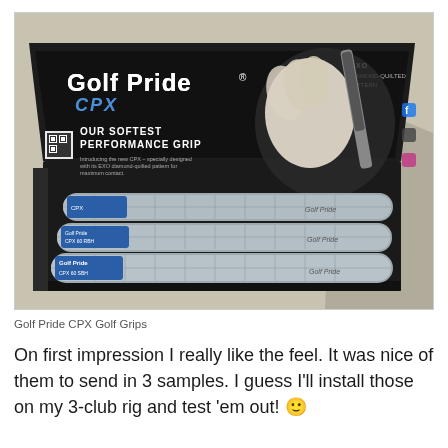[Figure (photo): An open black box of Golf Pride CPX Golf Grips. The inside lid of the box shows the Golf Pride CPX branding with text 'OUR SOFTEST PERFORMANCE GRIP' and an image of a golfer's gloved hand gripping a club. Three gray patterned golf grips are visible resting inside the black box, each with a blue label tag.]
Golf Pride CPX Golf Grips
On first impression I really like the feel. It was nice of them to send in 3 samples. I guess I'll install those on my 3-club rig and test 'em out! 🙂